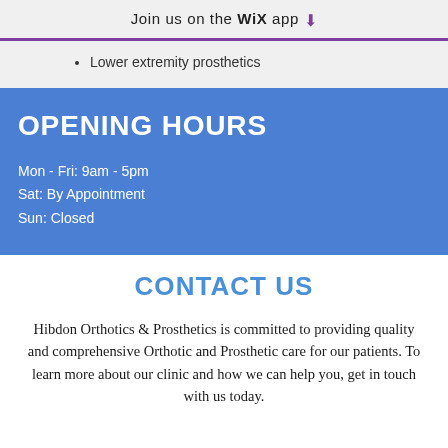Join us on the WiX app ⬇
Lower extremity prosthetics
OPENING HOURS
Mon - Fri: 9am - 5pm
Sat: By Appointment
Sun: Closed
CONTACT US
Hibdon Orthotics & Prosthetics is committed to providing quality and comprehensive Orthotic and Prosthetic care for our patients. To learn more about our clinic and how we can help you, get in touch with us today.